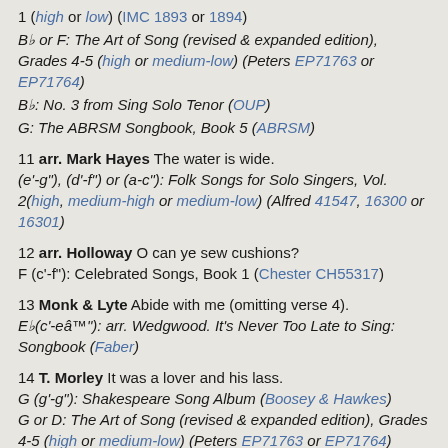1 (high or low) (IMC 1893 or 1894)
Bb or F: The Art of Song (revised & expanded edition), Grades 4-5 (high or medium-low) (Peters EP71763 or EP71764)
Bb: No. 3 from Sing Solo Tenor (OUP)
G: The ABRSM Songbook, Book 5 (ABRSM)
11 arr. Mark Hayes The water is wide. (e'-g"), (d'-f") or (a-c"): Folk Songs for Solo Singers, Vol. 2(high, medium-high or medium-low) (Alfred 41547, 16300 or 16301)
12 arr. Holloway O can ye sew cushions? F (c'-f"): Celebrated Songs, Book 1 (Chester CH55317)
13 Monk & Lyte Abide with me (omitting verse 4). Eb(c'-ea™"): arr. Wedgwood. It's Never Too Late to Sing: Songbook (Faber)
14 T. Morley It was a lover and his lass. G (g'-g"): Shakespeare Song Album (Boosey & Hawkes) G or D: The Art of Song (revised & expanded edition), Grades 4-5 (high or medium-low) (Peters EP71763 or EP71764)
E or D: English Songs: Renaissance to Baroque (high or